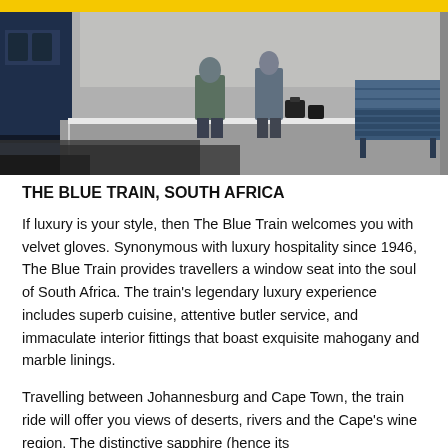[Figure (photo): Photo of a train platform scene. A dark blue train is visible on the left side. Two people (passengers) are standing on the platform with luggage. A bench is visible on the right side. The ground shows light and shadow patterns.]
THE BLUE TRAIN, SOUTH AFRICA
If luxury is your style, then The Blue Train welcomes you with velvet gloves. Synonymous with luxury hospitality since 1946, The Blue Train provides travellers a window seat into the soul of South Africa. The train's legendary luxury experience includes superb cuisine, attentive butler service, and immaculate interior fittings that boast exquisite mahogany and marble linings.
Travelling between Johannesburg and Cape Town, the train ride will offer you views of deserts, rivers and the Cape's wine region. The distinctive sapphire (hence its